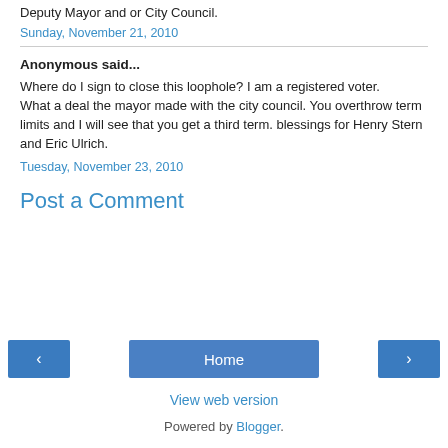Deputy Mayor and or City Council.
Sunday, November 21, 2010
Anonymous said...
Where do I sign to close this loophole? I am a registered voter.
What a deal the mayor made with the city council. You overthrow term limits and I will see that you get a third term. blessings for Henry Stern and Eric Ulrich.
Tuesday, November 23, 2010
Post a Comment
[Figure (other): Navigation buttons: left arrow, Home, right arrow]
View web version
Powered by Blogger.